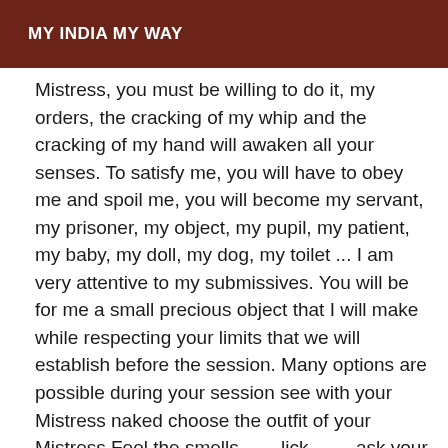MY INDIA MY WAY
Mistress, you must be willing to do it, my orders, the cracking of my whip and the cracking of my hand will awaken all your senses. To satisfy me, you will have to obey me and spoil me, you will become my servant, my prisoner, my object, my pupil, my patient, my baby, my doll, my dog, my toilet ... I am very attentive to my submissives. You will be for me a small precious object that I will make while respecting your limits that we will establish before the session. Many options are possible during your session see with your Mistress naked choose the outfit of your Mistress Feel the smells ...... lick ....... ask your Mistress she will tell you My practices : Corporal punishment, whip, whip, faggot, spanking, roulette, trampling, face siting ballbusting Slap, spit, tweezers, weight, ice cubes, candle, waxing, shaving, cross-dressing, script Humiliations, insults, fetishism, foot job, kneeling, cornering, licking, drinking, eating, barking, peeing like a dog, putting on a leash and